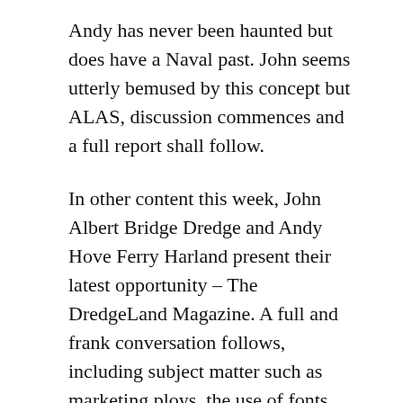Andy has never been haunted but does have a Naval past. John seems utterly bemused by this concept but ALAS, discussion commences and a full report shall follow.
In other content this week, John Albert Bridge Dredge and Andy Hove Ferry Harland present their latest opportunity – The DredgeLand Magazine. A full and frank conversation follows, including subject matter such as marketing ploys, the use of fonts, advertising, income generation and distances shuffled.
We here at DredgeLand think that this episode is a classic example.